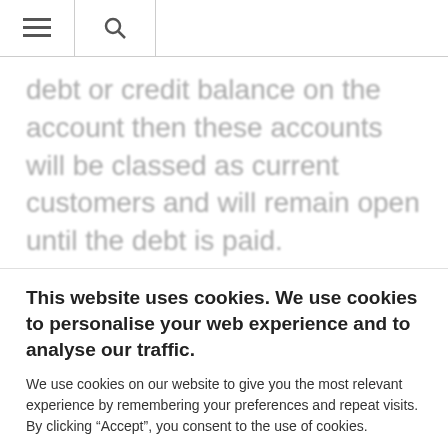≡  🔍
debt or credit balance on the account then these accounts will be classed as current customers and will remain open until the debt is paid.
This website uses cookies. We use cookies to personalise your web experience and to analyse our traffic.
We use cookies on our website to give you the most relevant experience by remembering your preferences and repeat visits. By clicking “Accept”, you consent to the use of cookies.
Cookie settings   ACCEPT   REJECT